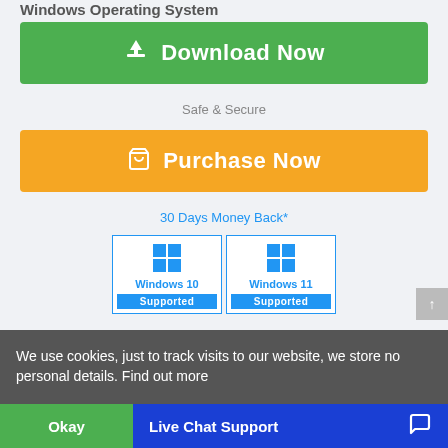Windows Operating System
[Figure (other): Green Download Now button with download icon]
Safe & Secure
[Figure (other): Orange Purchase Now button with shopping cart icon]
30 Days Money Back*
[Figure (other): Windows 10 Supported and Windows 11 Supported badges with Windows logos]
We use cookies, just to track visits to our website, we store no personal details. Find out more
Okay
Live Chat Support